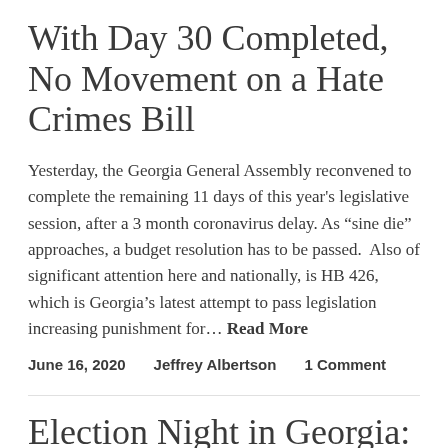With Day 30 Completed, No Movement on a Hate Crimes Bill
Yesterday, the Georgia General Assembly reconvened to complete the remaining 11 days of this year's legislative session, after a 3 month coronavirus delay. As “sine die” approaches, a budget resolution has to be passed. Also of significant attention here and nationally, is HB 426, which is Georgia’s latest attempt to pass legislation increasing punishment for… Read More
June 16, 2020    Jeffrey Albertson    1 Comment
Election Night in Georgia: Here are the contests I’m watching,